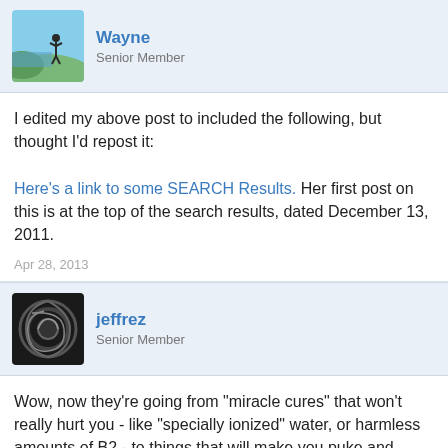Wayne
Senior Member
I edited my above post to included the following, but thought I'd repost it:
Here's a link to some SEARCH Results. Her first post on this is at the top of the search results, dated December 13, 2011.
Apr 28, 2013
jeffrez
Senior Member
Wow, now they're going from "miracle cures" that won't really hurt you - like "specially ionized" water, or harmless amounts of B2 - to things that will make you puke and vomit your guts out and potentially kill you. Not saying that if there's an underlying neurobiological cause something like "kambo" couldn't effect that, but the desperation is getting crazy.